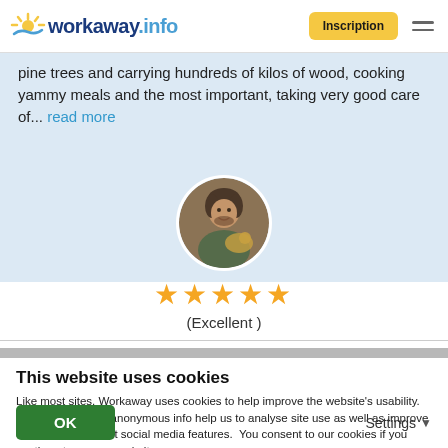[Figure (logo): Workaway.info logo with sun graphic, blue text]
pine trees and carrying hundreds of kilos of wood, cooking yammy meals and the most important, taking very good care of... read more
[Figure (photo): Circular profile photo of a man with a dog]
[Figure (other): Five gold stars rating]
(Excellent )
This website uses cookies
Like most sites, Workaway uses cookies to help improve the website's usability. Cookies providing anonymous info help us to analyse site use as well as improve content and present social media features.  You consent to our cookies if you continue to use our website.
OK
Settings